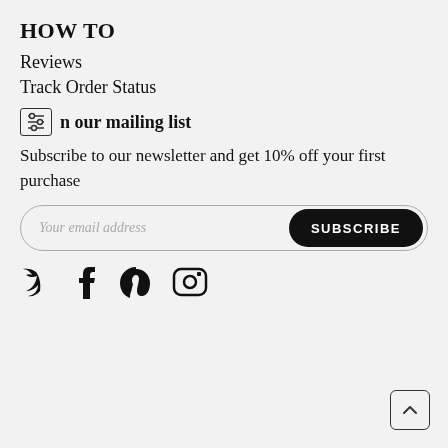HOW TO
Reviews
Track Order Status
Join our mailing list
Subscribe to our newsletter and get 10% off your first purchase
Your email address [input field] SUBSCRIBE [button]
[Figure (other): Social media icons: Twitter, Facebook, Pinterest, Instagram]
[Figure (other): Back to top button with chevron up arrow]